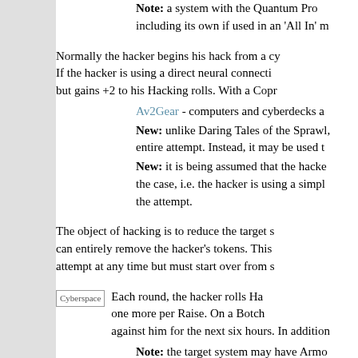Note: a system with the Quantum Prob... including its own if used in an 'All In' m...
Normally the hacker begins his hack from a cy... If the hacker is using a direct neural connecti... but gains +2 to his Hacking rolls. With a Copr...
Av2Gear - computers and cyberdecks a...
New: unlike Daring Tales of the Sprawl,... entire attempt. Instead, it may be used t...
New: it is being assumed that the hacke... the case, i.e. the hacker is using a simpl... the attempt.
The object of hacking is to reduce the target s... can entirely remove the hacker's tokens. This... attempt at any time but must start over from s...
[Figure (illustration): Cyberspace image placeholder]
Each round, the hacker rolls Ha... one more per Raise. On a Botch... against him for the next six hours. In addition...
Note: the target system may have Armo... target system a -1 penalty to its Securi...